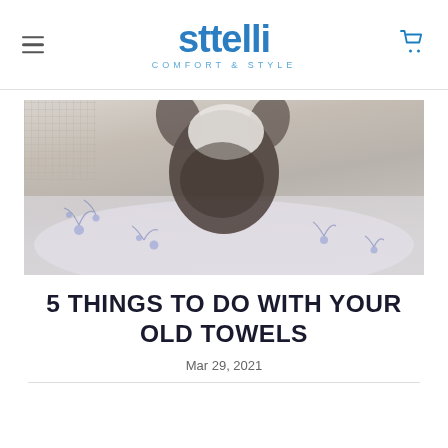sttelli COMFORT & STYLE
[Figure (photo): A cat resting its head on floral-patterned fabric/pillow, photographed from above, in a muted sepia-tone style]
5 THINGS TO DO WITH YOUR OLD TOWELS
Mar 29, 2021